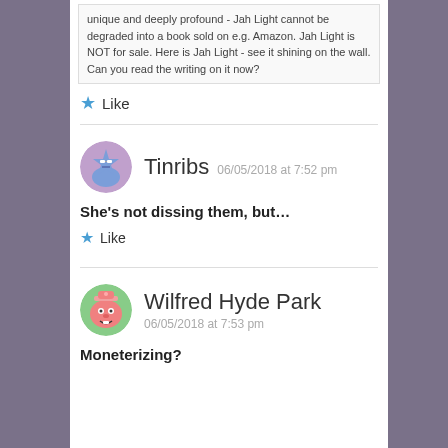unique and deeply profound - Jah Light cannot be degraded into a book sold on e.g. Amazon. Jah Light is NOT for sale. Here is Jah Light - see it shining on the wall. Can you read the writing on it now?
Like
Tinribs 06/05/2018 at 7:52 pm
She's not dissing them, but...
Like
Wilfred Hyde Park 06/05/2018 at 7:53 pm
Moneterizing?